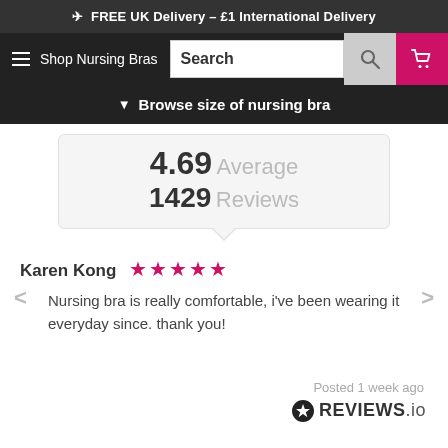✈ FREE UK Delivery – £1 International Delivery
[Figure (screenshot): Navigation bar with hamburger menu, Shop Nursing Bras text, search box, search icon, and pink cart icon]
▼ Browse size of nursing bra
4.69 Average
1429 Reviews
Karen Kong ★★★★★
Nursing bra is really comfortable, i've been wearing it everyday since. thank you!
Posted 1 week ago
[Figure (logo): REVIEWS.io logo with star circle icon]